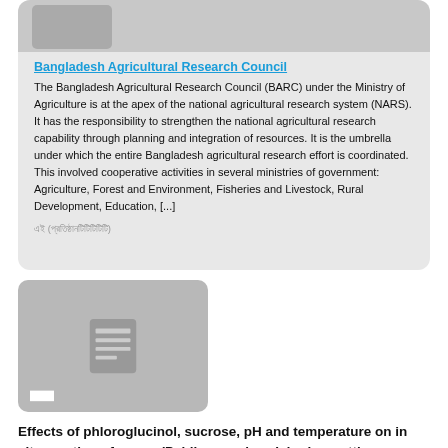[Figure (other): Gray placeholder image thumbnail at the top of an organization card]
Bangladesh Agricultural Research Council
The Bangladesh Agricultural Research Council (BARC) under the Ministry of Agriculture is at the apex of the national agricultural research system (NARS). It has the responsibility to strengthen the national agricultural research capability through planning and integration of resources. It is the umbrella under which the entire Bangladesh agricultural research effort is coordinated. This involved cooperative activities in several ministries of government: Agriculture, Forest and Environment, Fisheries and Livestock, Rural Development, Education, [...]
এই (প্রতিষ্ঠানটিটিটিটিটি)
[Figure (other): Gray thumbnail card with a document/newspaper icon and label text]
Effects of phloroglucinol, sucrose, pH and temperature on in vitro rooting of guava (Psidium guajava L.) microcuttings  [1989]
Amin, M.N.; Jaiswal, V.S.;